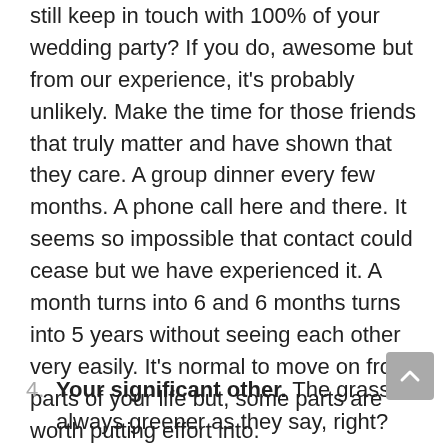still keep in touch with 100% of your wedding party?  If you do, awesome but from our experience, it's probably unlikely.  Make the time for those friends that truly matter and have shown that they care.  A group dinner every few months.  A phone call here and there.  It seems so impossible that contact could cease but we have experienced it.  A month turns into 6 and 6 months turns into 5 years without seeing each other very easily.  It's normal to move on from parts of your life but, some parts are worth putting effort into.
4. Your significant other.  The grass is always greener as they say, right?